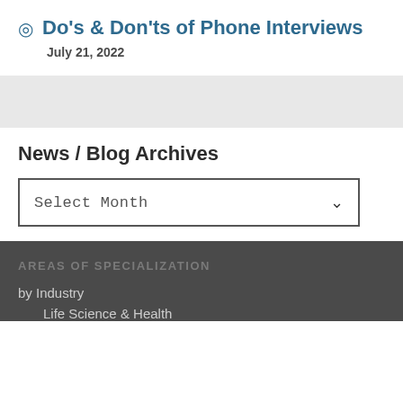Do's & Don'ts of Phone Interviews
July 21, 2022
News / Blog Archives
Select Month
AREAS OF SPECIALIZATION
by Industry
Life Science & Health